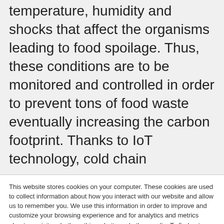temperature, humidity and shocks that affect the organisms leading to food spoilage. Thus, these conditions are to be monitored and controlled in order to prevent tons of food waste eventually increasing the carbon footprint. Thanks to IoT technology, cold chain
This website stores cookies on your computer. These cookies are used to collect information about how you interact with our website and allow us to remember you. We use this information in order to improve and customize your browsing experience and for analytics and metrics about our visitors both on this website and other media. To find out more about the cookies we use, see our Privacy Policy.
If you decline, your information won't be tracked when you visit this website. A single cookie will be used in your browser to remember your preference not to be tracked.